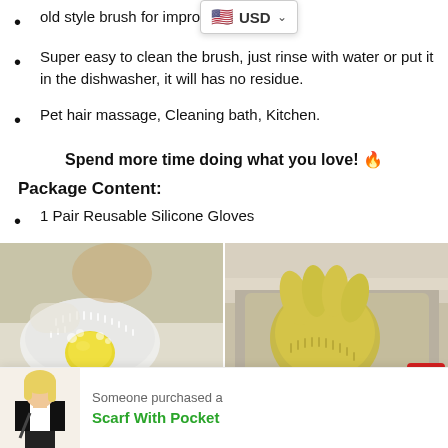old style brush for improving hygiene.
Super easy to clean the brush, just rinse with water or put it in the dishwasher, it will has no residue.
Pet hair massage, Cleaning bath, Kitchen.
Spend more time doing what you love! 🔥
Package Content:
1 Pair Reusable Silicone Gloves
[Figure (photo): Two photos side by side: left shows a white silicone glove scrubbing a lemon, right shows a yellow silicone glove with bristles in a sink]
[Figure (photo): Purchase notification bar showing a woman with a scarf and text 'Someone purchased a Scarf With Pocket']